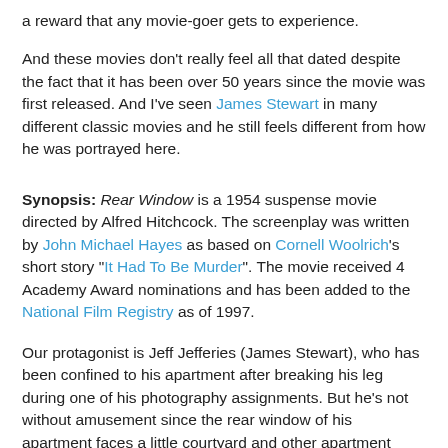a reward that any movie-goer gets to experience.
And these movies don't really feel all that dated despite the fact that it has been over 50 years since the movie was first released. And I've seen James Stewart in many different classic movies and he still feels different from how he was portrayed here.
Synopsis: Rear Window is a 1954 suspense movie directed by Alfred Hitchcock. The screenplay was written by John Michael Hayes as based on Cornell Woolrich's short story "It Had To Be Murder". The movie received 4 Academy Award nominations and has been added to the National Film Registry as of 1997.
Our protagonist is Jeff Jefferies (James Stewart), who has been confined to his apartment after breaking his leg during one of his photography assignments. But he's not without amusement since the rear window of his apartment faces a little courtyard and other apartment buildings in the area. And with the summer heat, everyone has their windows open and